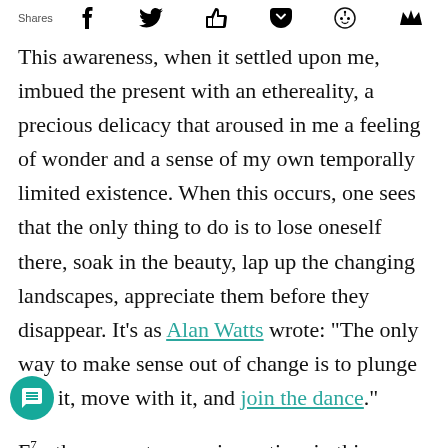Shares [social share icons: Facebook, Twitter, Like, Pocket, Reddit, Flipboard]
This awareness, when it settled upon me, imbued the present with an ethereality, a precious delicacy that aroused in me a feeling of wonder and a sense of my own temporally limited existence. When this occurs, one sees that the only thing to do is to lose oneself there, soak in the beauty, lap up the changing landscapes, appreciate them before they disappear. It's as Alan Watts wrote: “The only way to make sense out of change is to plunge into it, move with it, and join the dance.”
Furthermore, to experience time in this way (a [mode] that seems quite similar to Kerouac’s notion of “knowing time”) kindled in me a tremendous